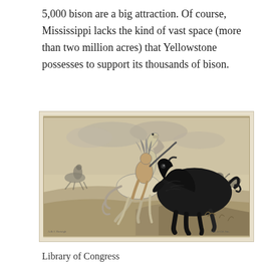5,000 bison are a big attraction. Of course, Mississippi lacks the kind of vast space (more than two million acres) that Yellowstone possesses to support its thousands of bison.
[Figure (illustration): A historic black and white lithograph depicting a Native American on horseback hunting a bison on the open plains. A rearing horse and rider are in the center confronting a large dark bison. Additional riders and animals are visible in the background. Small text inscriptions appear in the bottom left and bottom right corners of the print. The print has a sepia/cream toned background typical of old lithographs.]
Library of Congress